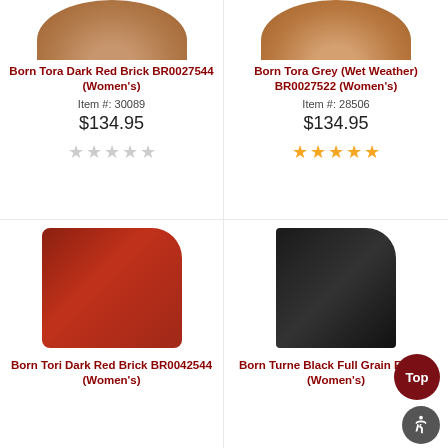[Figure (photo): Born Tora Dark Red Brick women's shoe, partially cropped at top]
Born Tora Dark Red Brick BR0027544 (Women's)
Item #: 30089
$134.95
0 stars (no filled stars)
[Figure (photo): Born Tora Grey (Wet Weather) women's shoe, partially cropped at top]
Born Tora Grey (Wet Weather) BR0027522 (Women's)
Item #: 28506
$134.95
5 stars rating
[Figure (photo): Born Tori Dark Red Brick women's ankle boot, suede with strap]
Born Tori Dark Red Brick BR0042544 (Women's)
[Figure (photo): Born Turne Black Full Grain women's tall boot]
Born Turne Black Full Grain F71203 (Women's)